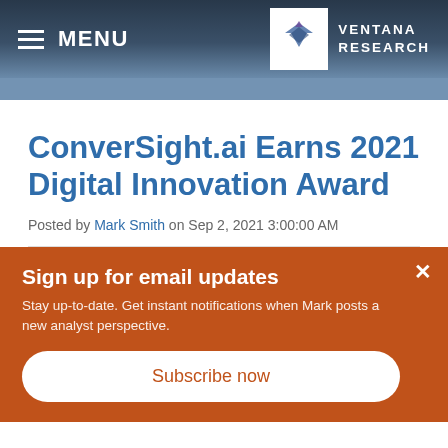MENU
[Figure (logo): Ventana Research logo with stylized V mark and text VENTANA RESEARCH]
ConverSight.ai Earns 2021 Digital Innovation Award
Posted by Mark Smith on Sep 2, 2021 3:00:00 AM
Sign up for email updates
Stay up-to-date. Get instant notifications when Mark posts a new analyst perspective.
Subscribe now